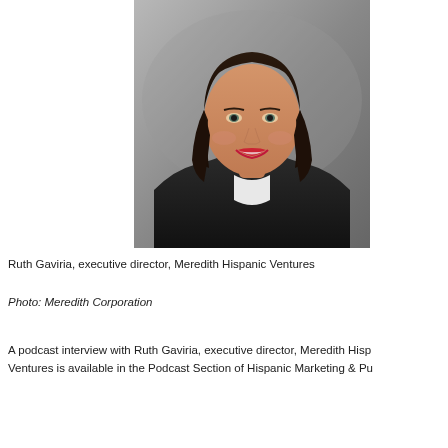[Figure (photo): Professional headshot of Ruth Gaviria, a woman with long dark brown hair, smiling, wearing a black jacket over a white top, against a grey background.]
Ruth Gaviria, executive director, Meredith Hispanic Ventures
Photo: Meredith Corporation
A podcast interview with Ruth Gaviria, executive director, Meredith Hispanic Ventures is available in the Podcast Section of Hispanic Marketing & Pu